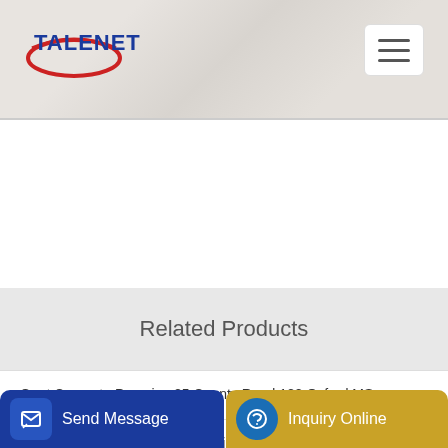[Figure (logo): Talenet company logo with red oval graphic and blue bold text]
Related Products
Gant Concrete Pumping 25 County Road 122 Oxford MS
25m3 h concrete mixer plant mixing plant
e batc
Send Message
Inquiry Online